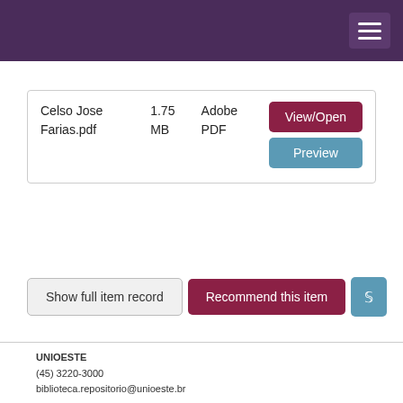| File | Size | Format | Actions |
| --- | --- | --- | --- |
| Celso Jose Farias.pdf | 1.75 MB | Adobe PDF | View/Open | Preview |
Show full item record
Recommend this item
Items in TEDE are protected by copyright, with all rights reserved, unless otherwise indicated.
UNIOESTE
(45) 3220-3000
biblioteca.repositorio@unioeste.br